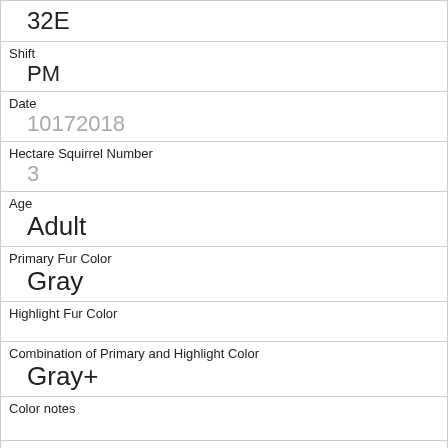| 32E |
| Shift | PM |
| Date | 10172018 |
| Hectare Squirrel Number | 3 |
| Age | Adult |
| Primary Fur Color | Gray |
| Highlight Fur Color |  |
| Combination of Primary and Highlight Color | Gray+ |
| Color notes |  |
| Location | Above Ground |
| Above Ground Sighter Measurement |  |